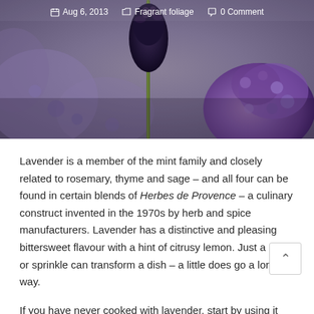[Figure (photo): Close-up photograph of lavender flowers; a single stem with a dark bud dominates the center, with a purple lavender cluster visible on the right, against a blurred purple-grey background.]
Aug 6, 2013  Fragrant foliage  0 Comment
Lavender is a member of the mint family and closely related to rosemary, thyme and sage – and all four can be found in certain blends of Herbes de Provence – a culinary construct invented in the 1970s by herb and spice manufacturers. Lavender has a distinctive and pleasing bittersweet flavour with a hint of citrusy lemon. Just a pinch or sprinkle can transform a dish – a little does go a long way.
If you have never cooked with lavender, start by using it